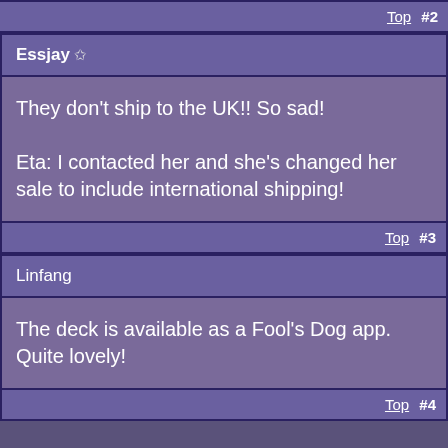Top  #2
Essjay ✩
They don't ship to the UK!! So sad!

Eta: I contacted her and she's changed her sale to include international shipping!
Top  #3
Linfang
The deck is available as a Fool's Dog app. Quite lovely!
Top  #4